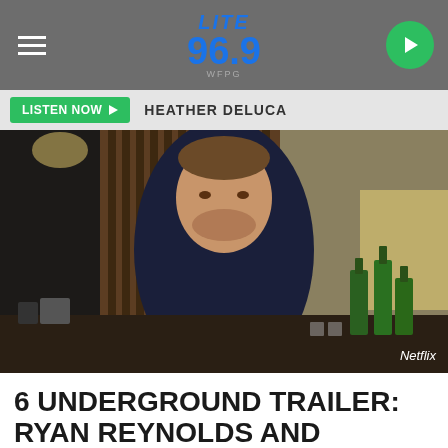LITE 96.9 WFPG
LISTEN NOW  HEATHER DELUCA
[Figure (photo): Man in dark navy sweater standing in a restaurant or bar setting with green bottles visible, wooden panel wall behind him, Netflix watermark in bottom right corner]
6 UNDERGROUND TRAILER: RYAN REYNOLDS AND MICHAEL BAY